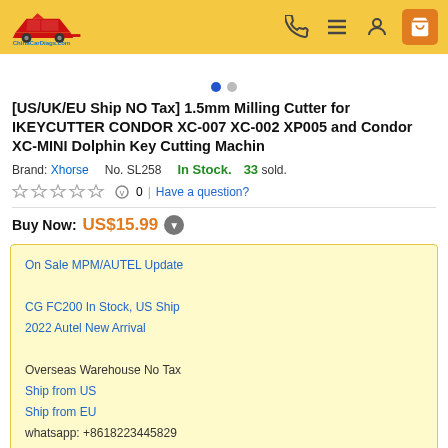ChinaCarDiags.com
[US/UK/EU Ship NO Tax] 1.5mm Milling Cutter for IKEYCUTTER CONDOR XC-007 XC-002 XP005 and Condor XC-MINI Dolphin Key Cutting Machin
Brand: Xhorse   No. SL258   In Stock.   33 sold.
☆☆☆☆☆  0  |  Have a question?
Buy Now: US$15.99
On Sale MPM/AUTEL Update

CG FC200 In Stock, US Ship
2022 Autel New Arrival

Overseas Warehouse No Tax
Ship from US
Ship from EU
whatsapp: +8618223445829